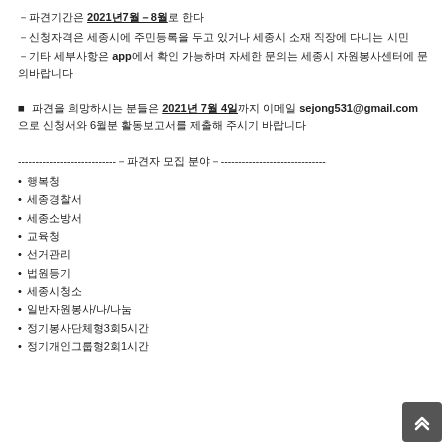－파견기간은 2021년7월－8월로 한다
－신청자격은 세종시에 주민등록을 두고 있거나 세종시 소재 직장에 다니는 시민
－기타 세부사항은 app에서 확인 가능하며 자세한 문의는 세종시 자원봉사센터에 문의바랍니다
■ 파견을 희망하시는 분들은 2021년 7월 4일까지 이메일 sejong531@gmail.com 으로 신청서와6월분 활동보고서를 제출해 주시기 바랍니다
----------------------------－파견자 모집 분야－------------------------------
행복청
세종경찰서
세종소방서
교육청
선거관리
법원등기
세종시청소
일반자원봉사/나/나눔
정기봉사단체형3회5시간
정기개인그룹형2회1시간